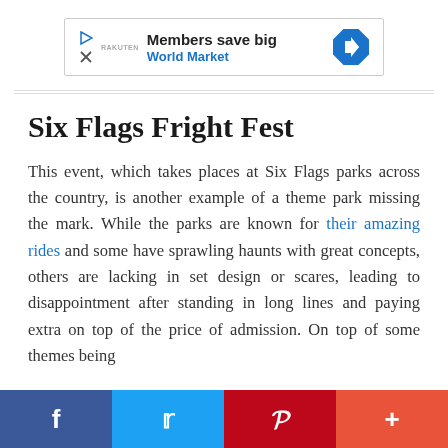[Figure (other): Advertisement banner: Members save big - World Market, with play icon, logo, and blue diamond arrow icon]
Six Flags Fright Fest
This event, which takes places at Six Flags parks across the country, is another example of a theme park missing the mark. While the parks are known for their amazing rides and some have sprawling haunts with great concepts, others are lacking in set design or scares, leading to disappointment after standing in long lines and paying extra on top of the price of admission. On top of some themes being
[Figure (infographic): Social media sharing bar with Facebook, Twitter, Pinterest, and More (+) buttons]